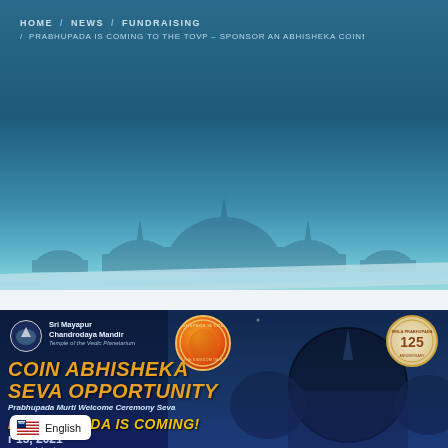HOME / NEWS / FUNDRAISING / PRABHUPADA IS COMING TO THE TOVP – SPONSOR AN ABHISHEKA COIN
[Figure (infographic): Coin Abhisheka Seva Opportunity banner with Sri Mayapur Chandrodaya Mandir logo, circular badges, temple background, and text: COIN ABHISHEKA SEVA OPPORTUNITY, Prabhupada Murti Welcome Ceremony Seva, PRABHUPADA IS COMING!, date r 15 2021, pure metal coin]
English